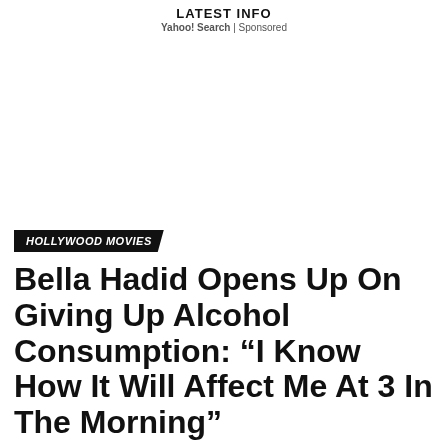LATEST INFO
Yahoo! Search | Sponsored
HOLLYWOOD MOVIES
Bella Hadid Opens Up On Giving Up Alcohol Consumption: “I Know How It Will Affect Me At 3 In The Morning”
Published 7 months ago on January 24, 2022
By Bolly4u